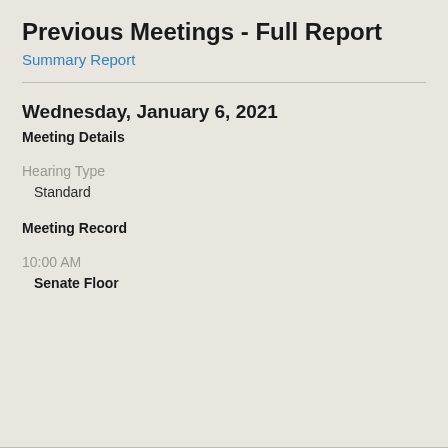Previous Meetings - Full Report
Summary Report
Wednesday, January 6, 2021
Meeting Details
Hearing Type
Standard
Meeting Record
10:00 AM
Senate Floor